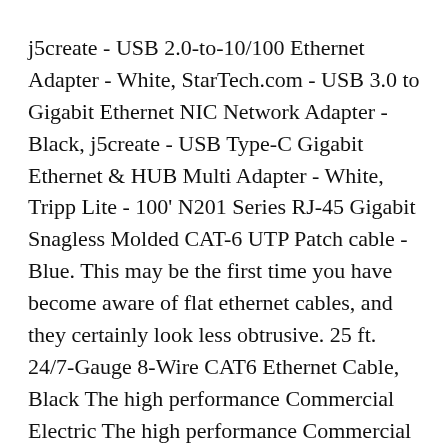j5create - USB 2.0-to-10/100 Ethernet Adapter - White, StarTech.com - USB 3.0 to Gigabit Ethernet NIC Network Adapter - Black, j5create - USB Type-C Gigabit Ethernet & HUB Multi Adapter - White, Tripp Lite - 100' N201 Series RJ-45 Gigabit Snagless Molded CAT-6 UTP Patch cable - Blue. This may be the first time you have become aware of flat ethernet cables, and they certainly look less obtrusive. 25 ft. 24/7-Gauge 8-Wire CAT6 Ethernet Cable, Black The high performance Commercial Electric The high performance Commercial Electric Cat6 UTP Ethernet Cable provides universal connectivity for LAN network components such as PCs, computer servers,